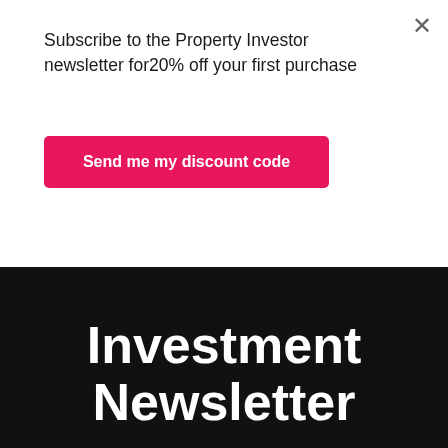Subscribe to the Property Investor newsletter for20% off your first purchase
Send me my discount code
Investment Newsletter
for access to early bird offers, discounts, industry news, investment tips and more
[Figure (screenshot): Chevron/down-arrow button at bottom left of newsletter section]
Make an impact with insights
Shrink the time between data discovery & decision making with Insights On the Go. senseforth.ai
Open